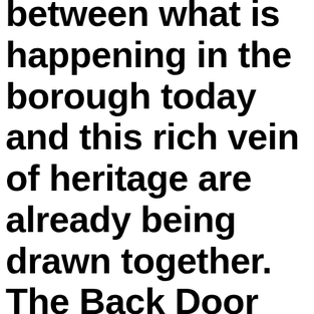The connections links between what is happening in the borough today and this rich vein of heritage are already being drawn together. The Back Door Music Project has submitted a bid to Heritage